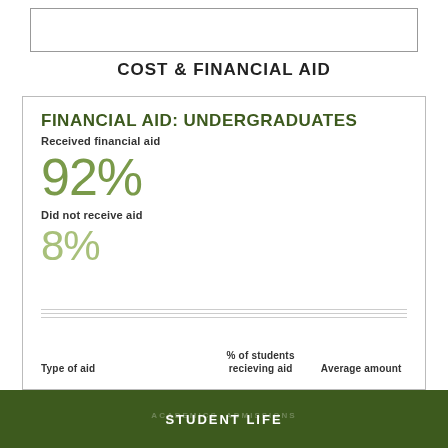COST & FINANCIAL AID
FINANCIAL AID: UNDERGRADUATES
Received financial aid
92%
Did not receive aid
8%
| Type of aid | % of students recieving aid | Average amount |
| --- | --- | --- |
STUDENT LIFE